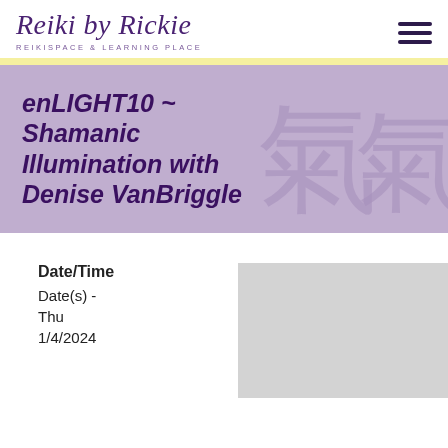Reiki by Rickie — REIKISPACE & LEARNING PLACE
enLIGHT10 ~ Shamanic Illumination with Denise VanBriggle
Date/Time
Date(s) - Thu 1/4/2024